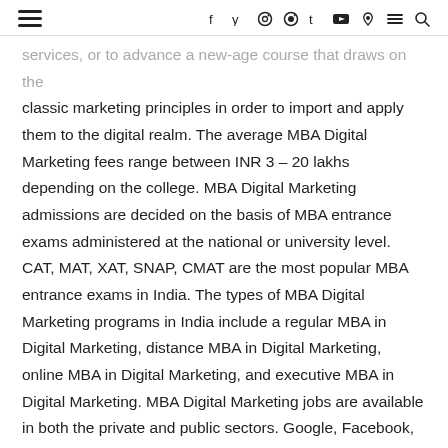≡  f y ⓘ ⊕ t ▶ ⬡ ≡ 🔍
services, or to advance a new-age course that draws on the classic marketing principles in order to import and apply them to the digital realm. The average MBA Digital Marketing fees range between INR 3 – 20 lakhs depending on the college. MBA Digital Marketing admissions are decided on the basis of MBA entrance exams administered at the national or university level. CAT, MAT, XAT, SNAP, CMAT are the most popular MBA entrance exams in India. The types of MBA Digital Marketing programs in India include a regular MBA in Digital Marketing, distance MBA in Digital Marketing, online MBA in Digital Marketing, and executive MBA in Digital Marketing. MBA Digital Marketing jobs are available in both the private and public sectors. Google, Facebook, Mirum India, Webchutney, Pinstorm, Langoor, and others are among the top companies that hire digital marketing professionals in various capacities. An MBA Digital Marketer's average starting salary might range from INR 5 to INR 6 LPA. MBA